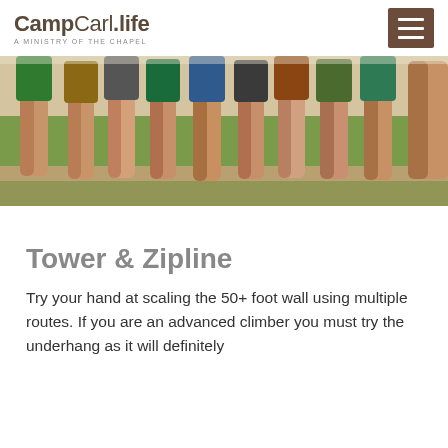CampCarl.life — A MINISTRY OF THE CHAPEL
[Figure (photo): Close-up photo of people's legs standing in grass at an outdoor camp setting]
Tower & Zipline
Try your hand at scaling the 50+ foot wall using multiple routes. If you are an advanced climber you must try the underhang as it will definitely